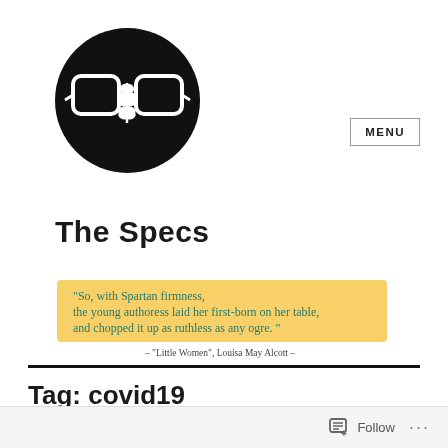[Figure (logo): Black circle logo with a white plant/leaf illustration inside glasses/spectacles shape]
The Specs
[Figure (illustration): Handwritten quote on yellow highlighter background: "So, with Spartan firmness, the young authoress laid her first-born on her table, and chopped it up as ruthless as any ogre." – "Little Women", Louisa May Alcott –]
Tag: covid19